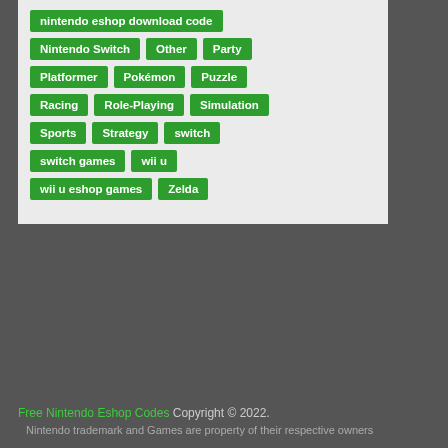nintendo eshop download code
Nintendo Switch
Other
Party
Platformer
Pokémon
Puzzle
Racing
Role-Playing
Simulation
Sports
Strategy
switch
switch games
wii u
wii u eshop games
Zelda
Free Nintendo Eshop Codes Copyright © 2022. Nintendo trademark and Games are property of their respective owners